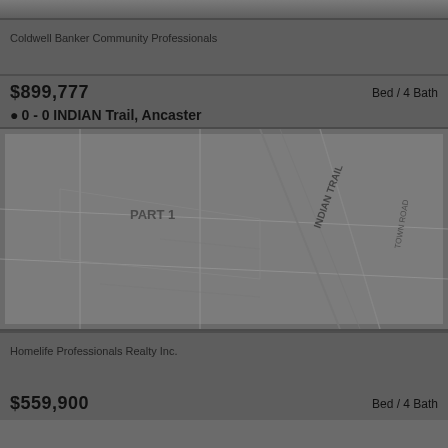[Figure (photo): Top portion of a property photo showing a house exterior, cropped at top of page]
Coldwell Banker Community Professionals
$899,777
Bed / 4 Bath
0 - 0 INDIAN Trail, Ancaster
[Figure (map): Survey/lot map showing INDIAN TRAIL property boundaries with PART 1 labeled, showing street layout]
Homelife Professionals Realty Inc.
$559,900
Bed / 4 Bath